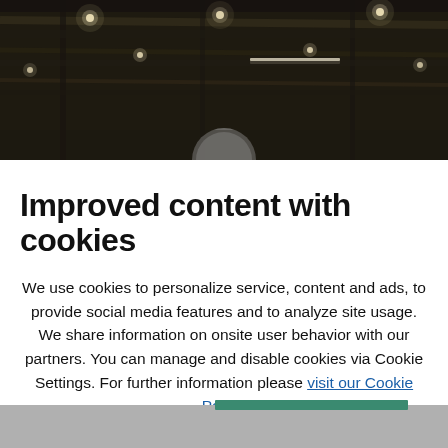[Figure (photo): Interior ceiling of a dark industrial-style building with recessed lighting and ceiling structures visible]
Improved content with cookies
We use cookies to personalize service, content and ads, to provide social media features and to analyze site usage. We share information on onsite user behavior with our partners. You can manage and disable cookies via Cookie Settings. For further information please visit our Cookie Policy